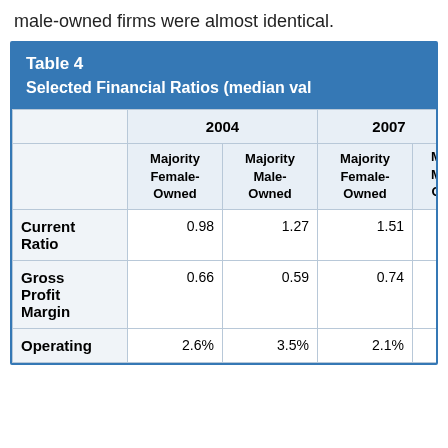male-owned firms were almost identical.
|  | 2004 Majority Female-Owned | 2004 Majority Male-Owned | 2007 Majority Female-Owned | 2007 Majority Male-Owned (partial) |
| --- | --- | --- | --- | --- |
| Current Ratio | 0.98 | 1.27 | 1.51 |  |
| Gross Profit Margin | 0.66 | 0.59 | 0.74 |  |
| Operating | 2.6% | 3.5% | 2.1% |  |